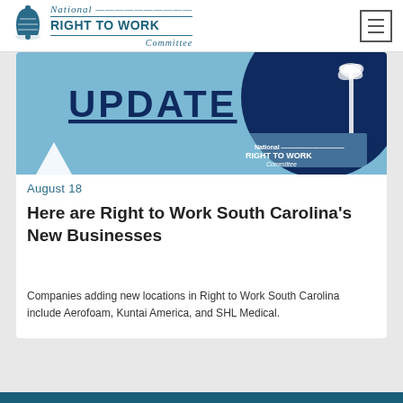National Right to Work Committee
[Figure (screenshot): Light blue banner image with 'UPDATE' text and National Right to Work branding, featuring dark navy circular shape and palm tree silhouette]
August 18
Here are Right to Work South Carolina's New Businesses
Companies adding new locations in Right to Work South Carolina include Aerofoam, Kuntai America, and SHL Medical.